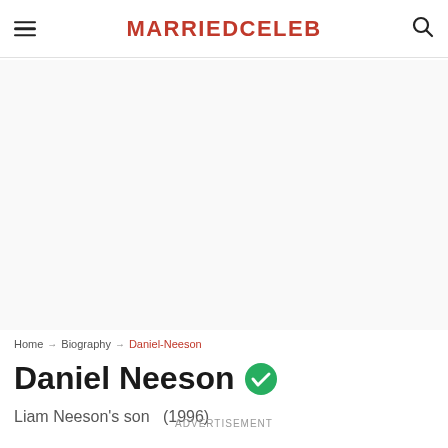MARRIEDCELEB
[Figure (other): Advertisement/blank area placeholder]
Home → Biography → Daniel-Neeson
Daniel Neeson
Liam Neeson's son   (1996)
ADVERTISEMENT